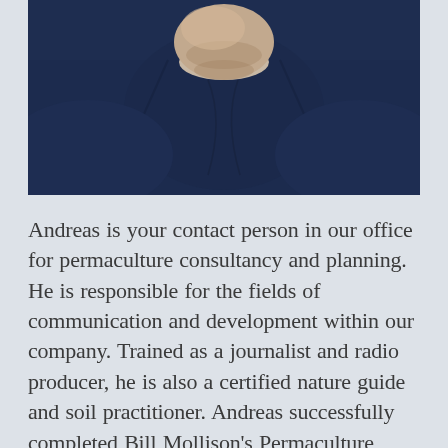[Figure (photo): Photo of a man in a dark navy blue sweatshirt, cropped to show chin, neck, shoulders and upper torso. The man has light facial stubble.]
Andreas is your contact person in our office for permaculture consultancy and planning. He is responsible for the fields of communication and development within our company. Trained as a journalist and radio producer, he is also a certified nature guide and soil practitioner. Andreas successfully completed Bill Mollison's Permaculture Design Course in 2009 as well